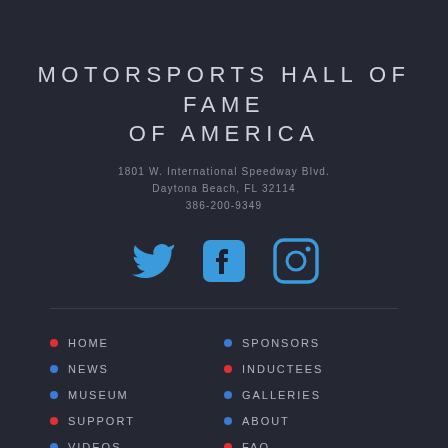MOTORSPORTS HALL OF FAME OF AMERICA
1801 W. International Speedway Blvd.
Daytona Beach, FL 32114
386-200-9349
[Figure (illustration): Three social media icons: Twitter bird, Facebook logo, and Instagram camera icon, all in blue color]
HOME
NEWS
MUSEUM
SUPPORT
VIDEOS
SPONSORS
INDUCTEES
GALLERIES
ABOUT
FAQ